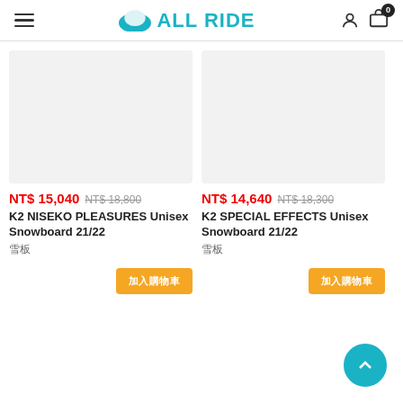ALL RIDE
[Figure (screenshot): Product card for K2 NISEKO PLEASURES Unisex Snowboard 21/22 with price NT$ 15,040 (original NT$ 18,800)]
[Figure (screenshot): Product card for K2 SPECIAL EFFECTS Unisex Snowboard 21/22 with price NT$ 14,640 (original NT$ 18,300)]